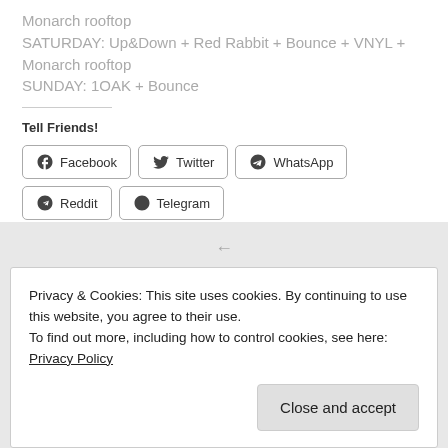Monarch rooftop
SATURDAY: Up&Down + Red Rabbit + Bounce + VNYL + Monarch rooftop
SUNDAY: 1OAK + Bounce
Tell Friends!
Facebook Twitter WhatsApp Reddit Telegram (share buttons)
Privacy & Cookies: This site uses cookies. By continuing to use this website, you agree to their use.
To find out more, including how to control cookies, see here: Privacy Policy